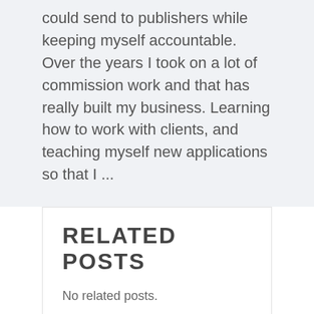could send to publishers while keeping myself accountable. Over the years I took on a lot of commission work and that has really built my business. Learning how to work with clients, and teaching myself new applications so that I ...
RELATED POSTS
No related posts.
THE WOODSMEN TRAILER REVIEW BY